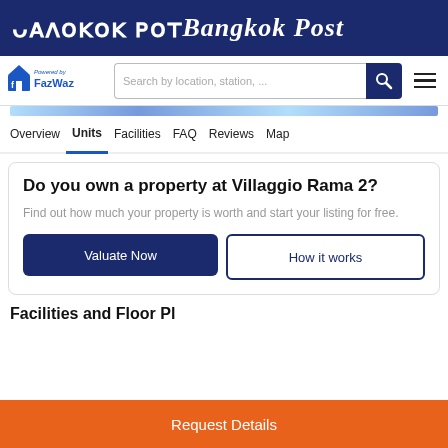Bangkok Post
[Figure (logo): FazWaz logo with search bar and hamburger menu navigation]
Overview | Units | Facilities | FAQ | Reviews | Map
Do you own a property at Villaggio Rama 2?
Find out how much your property is worth and start your listing for free.
Valuate Now | How it works
Facilities and Floor Pl...
Request Details